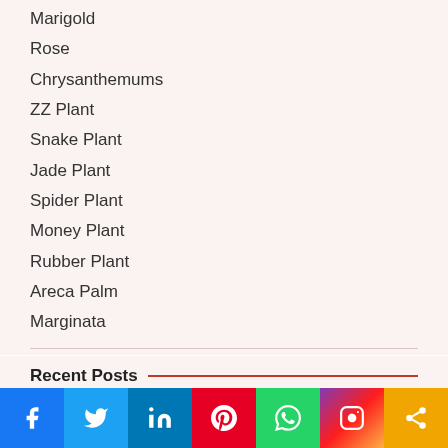Marigold
Rose
Chrysanthemums
ZZ Plant
Snake Plant
Jade Plant
Spider Plant
Money Plant
Rubber Plant
Areca Palm
Marginata
Recent Posts
365 Days Flowering Plants